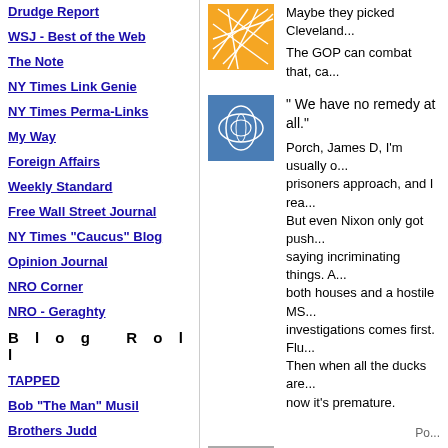Drudge Report
WSJ - Best of the Web
The Note
NY Times Link Genie
NY Times Perma-Links
My Way
Foreign Affairs
Weekly Standard
Free Wall Street Journal
NY Times "Caucus" Blog
Opinion Journal
NRO Corner
NRO - Geraghty
Blog Roll
TAPPED
Bob "The Man" Musil
Brothers Judd
Luskin Conspiracy
[Figure (illustration): Orange square with white geometric line pattern]
Maybe they picked Cleveland...
The GOP can combat that, ca...
[Figure (illustration): Blue square with swirling white oval pattern]
" We have no remedy at all."
Porch, James D, I'm usually o... prisoners approach, and I rea... But even Nixon only got push... saying incriminating things. A... both houses and a hostile MS... investigations comes first. Flu... Then when all the ducks are... now it's premature.
[Figure (illustration): Gray square with dark oval and geometric pattern]
Yes the Repubs have, in seve... been upheld by the SCOTUS... harbor alternative ID at taxpa...